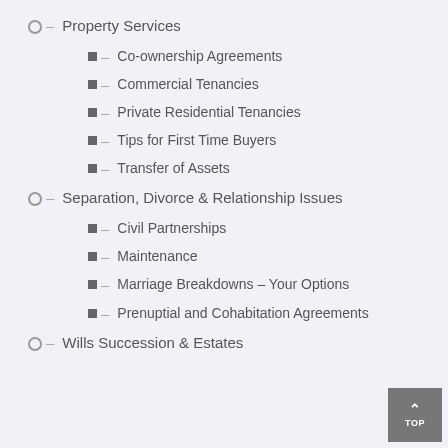Property Services
Co-ownership Agreements
Commercial Tenancies
Private Residential Tenancies
Tips for First Time Buyers
Transfer of Assets
Separation, Divorce & Relationship Issues
Civil Partnerships
Maintenance
Marriage Breakdowns – Your Options
Prenuptial and Cohabitation Agreements
Wills Succession & Estates